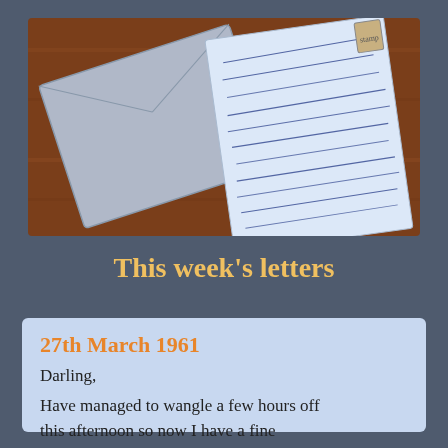[Figure (photo): A photograph showing handwritten letters on a wooden table. A grey envelope and an open letter with blue handwriting are visible, along with what appears to a small postage stamp or label in the top right corner.]
This week’s letters
27th March 1961
Darling,
Have managed to wangle a few hours off this afternoon so now I have a fine